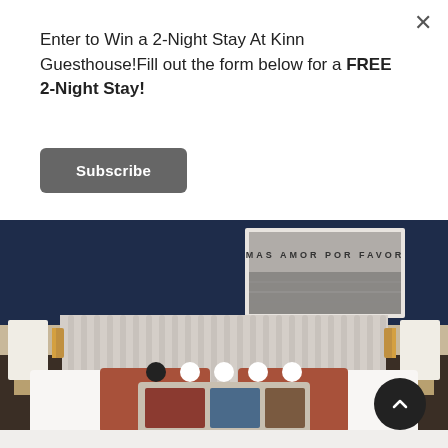Enter to Win a 2-Night Stay At Kinn Guesthouse!Fill out the form below for a FREE 2-Night Stay!
Subscribe
[Figure (photo): Hotel bedroom with tall channeled upholstered headboard in light gray, dark navy blue wall, framed black-and-white artwork reading 'MAS AMOR POR FAVOR', terracotta/rust colored throw pillows, floral lumbar pillow, gold wall sconces on either side, dark wood nightstands, white bedding.]